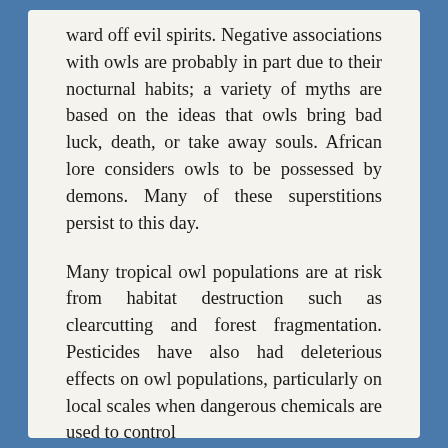ward off evil spirits. Negative associations with owls are probably in part due to their nocturnal habits; a variety of myths are based on the ideas that owls bring bad luck, death, or take away souls. African lore considers owls to be possessed by demons. Many of these superstitions persist to this day.
Many tropical owl populations are at risk from habitat destruction such as clearcutting and forest fragmentation. Pesticides have also had deleterious effects on owl populations, particularly on local scales when dangerous chemicals are used to control